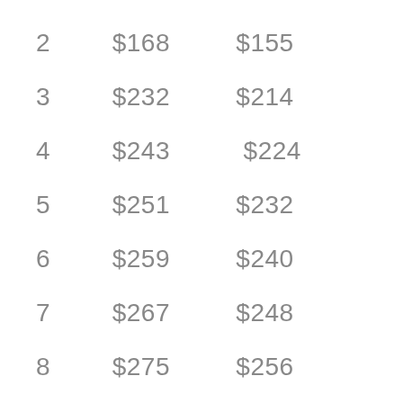| 2 | $168 | $155 |
| 3 | $232 | $214 |
| 4 | $243 | $224 |
| 5 | $251 | $232 |
| 6 | $259 | $240 |
| 7 | $267 | $248 |
| 8 | $275 | $256 |